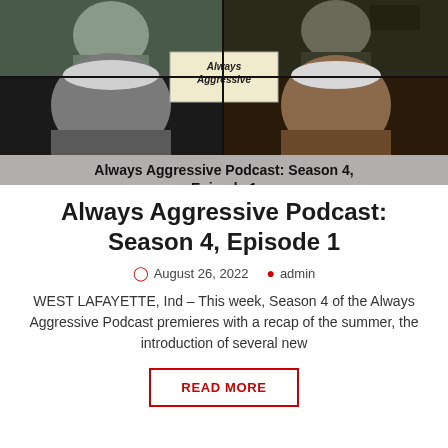[Figure (screenshot): Video podcast thumbnail showing four participants in a video call grid layout with 'Always Aggressive Podcast' logo overlay. Caption bar reads 'Always Aggressive Podcast: Season 4, Episode 1']
Always Aggressive Podcast: Season 4, Episode 1
August 26, 2022  admin
WEST LAFAYETTE, Ind – This week, Season 4 of the Always Aggressive Podcast premieres with a recap of the summer, the introduction of several new
READ MORE